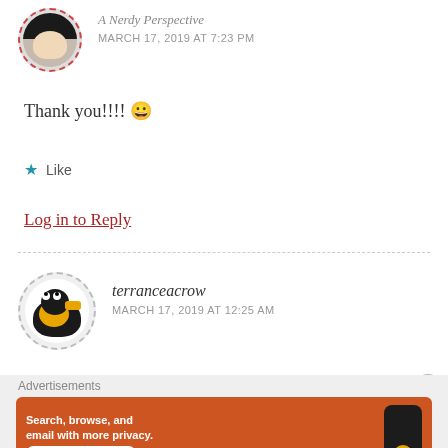A Nerdy Perspective
MARCH 17, 2019 AT 7:23 PM
Thank you!!!!  😀
Like
Log in to Reply
terranceacrow
MARCH 17, 2019 AT 12:25 AM
[Figure (other): Advertisement banner for DuckDuckGo: Search, browse, and email with more privacy. All in One Free App]
Advertisements